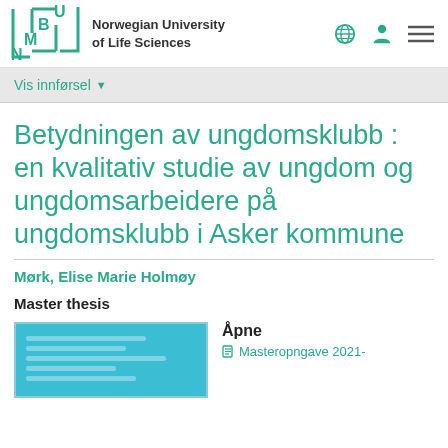[Figure (logo): NMBU Norwegian University of Life Sciences logo in teal/green]
Norwegian University of Life Sciences
Vis innførsel
Betydningen av ungdomsklubb : en kvalitativ studie av ungdom og ungdomsarbeidere på ungdomsklubb i Asker kommune
Mørk, Elise Marie Holmøy
Master thesis
[Figure (other): Thumbnail preview of the master thesis document, teal/blue cover]
Åpne
Masteropngave 2021-